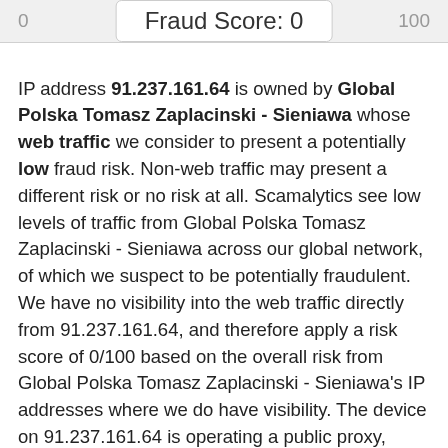Fraud Score: 0
IP address 91.237.161.64 is owned by Global Polska Tomasz Zaplacinski - Sieniawa whose web traffic we consider to present a potentially low fraud risk. Non-web traffic may present a different risk or no risk at all. Scamalytics see low levels of traffic from Global Polska Tomasz Zaplacinski - Sieniawa across our global network,  of which we suspect to be potentially fraudulent. We have no visibility into the web traffic directly from 91.237.161.64, and therefore apply a risk score of 0/100 based on the overall risk from Global Polska Tomasz Zaplacinski - Sieniawa's IP addresses where we do have visibility. The device on 91.237.161.64 is operating a public proxy, which could be proxying traffic from another geographical location. The geographical location of 91.237.161.64 is in